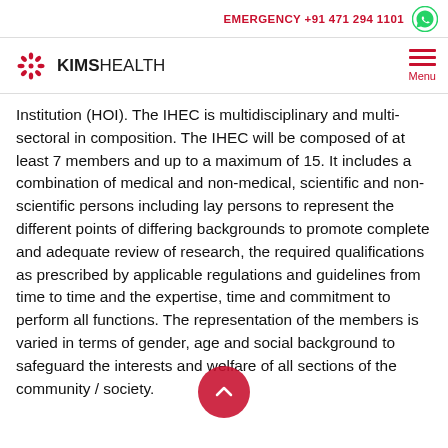EMERGENCY +91 471 294 1101
Institution (HOI). The IHEC is multidisciplinary and multi-sectoral in composition. The IHEC will be composed of at least 7 members and up to a maximum of 15. It includes a combination of medical and non-medical, scientific and non-scientific persons including lay persons to represent the different points of differing backgrounds to promote complete and adequate review of research, the required qualifications as prescribed by applicable regulations and guidelines from time to time and the expertise, time and commitment to perform all functions. The representation of the members is varied in terms of gender, age and social background to safeguard the interests and welfare of all sections of the community / society.